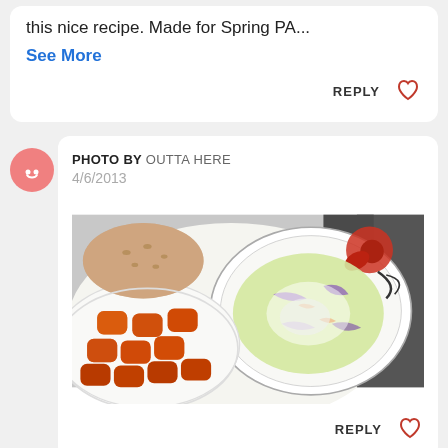this nice recipe. Made for Spring PA...
See More
REPLY
PHOTO BY OUTTA HERE
4/6/2013
[Figure (photo): A plate with coleslaw in a floral bowl, tater tots, and a burger bun, photographed from above on a dark counter.]
REPLY